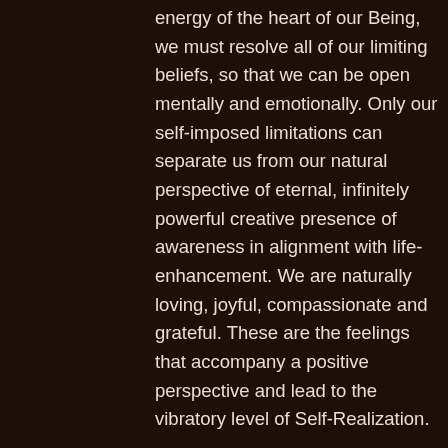energy of the heart of our Being, we must resolve all of our limiting beliefs, so that we can be open mentally and emotionally. Only our self-imposed limitations can separate us from our natural perspective of eternal, infinitely powerful creative presence of awareness in alignment with life-enhancement. We are naturally loving, joyful, compassionate and grateful. These are the feelings that accompany a positive perspective and lead to the vibratory level of Self-Realization.
Our creative abilities know no limits. Once we are in resonance with our eternal Self, we gain our own self-trust and stop interfering with our own creations, allowing them to manifest in